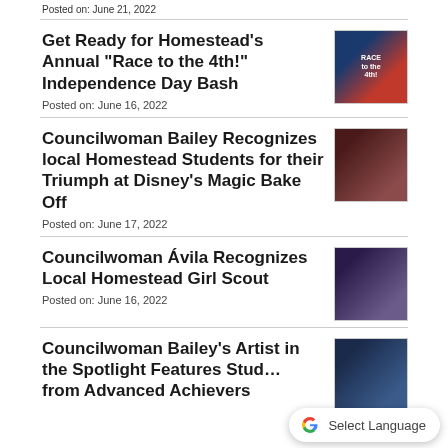Posted on: June 21, 2022
Get Ready for Homestead’s Annual “Race to the 4th!” Independence Day Bash
Posted on: June 16, 2022
[Figure (photo): Race to the 4th event poster with blue and red colors]
Councilwoman Bailey Recognizes local Homestead Students for their Triumph at Disney’s Magic Bake Off
Posted on: June 17, 2022
[Figure (photo): Group photo of students holding certificates in a dark room]
Councilwoman Ávila Recognizes Local Homestead Girl Scout
Posted on: June 16, 2022
[Figure (photo): Group photo at girl scout recognition event]
Councilwoman Bailey’s Artist in the Spotlight Features Stud… from Advanced Achievers
[Figure (photo): Partially visible photo for artist spotlight article]